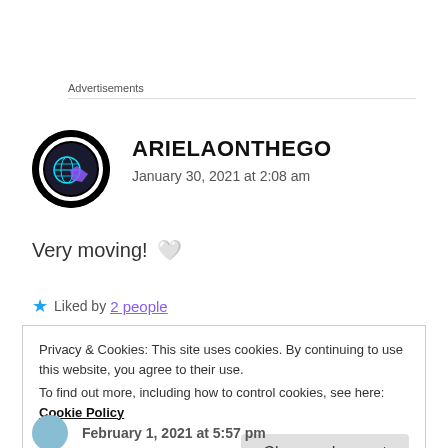Advertisements
ARIELAONTHEGO
January 30, 2021 at 2:08 am
Very moving! 🤍
Liked by 2 people
Privacy & Cookies: This site uses cookies. By continuing to use this website, you agree to their use.
To find out more, including how to control cookies, see here: Cookie Policy
Close and accept
February 1, 2021 at 5:57 pm